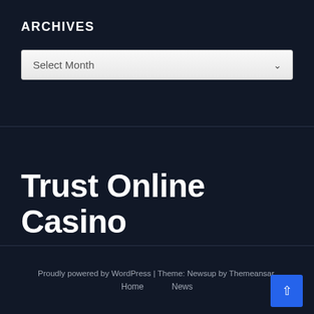ARCHIVES
Select Month
Trust Online Casino
Proudly powered by WordPress | Theme: Newsup by Themeansar.
Home   News